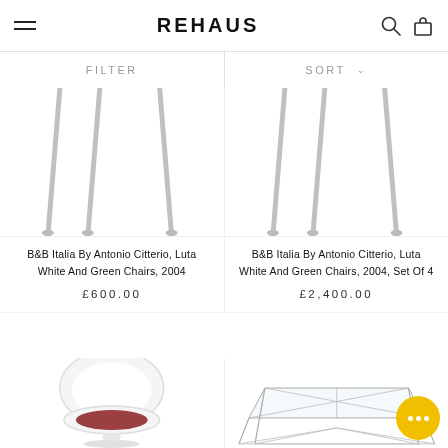REHAUS
FILTER
SORT
[Figure (photo): Cropped photo of chair legs in chrome/metal, white background — left product]
[Figure (photo): Cropped photo of chair legs in chrome/metal, white background — right product]
B&B Italia By Antonio Citterio, Luta White And Green Chairs, 2004
£600.00
B&B Italia By Antonio Citterio, Luta White And Green Chairs, 2004, Set Of 4
£2,400.00
[Figure (photo): White chair with rounded back and red/burgundy seat cushion on white pedestal base]
[Figure (photo): Geometric wire frame / glass coffee table with chrome legs forming triangular pattern]